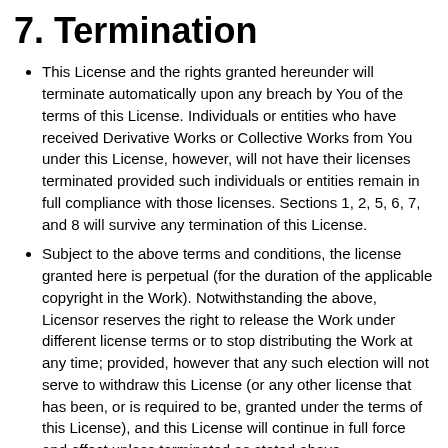7. Termination
This License and the rights granted hereunder will terminate automatically upon any breach by You of the terms of this License. Individuals or entities who have received Derivative Works or Collective Works from You under this License, however, will not have their licenses terminated provided such individuals or entities remain in full compliance with those licenses. Sections 1, 2, 5, 6, 7, and 8 will survive any termination of this License.
Subject to the above terms and conditions, the license granted here is perpetual (for the duration of the applicable copyright in the Work). Notwithstanding the above, Licensor reserves the right to release the Work under different license terms or to stop distributing the Work at any time; provided, however that any such election will not serve to withdraw this License (or any other license that has been, or is required to be, granted under the terms of this License), and this License will continue in full force and effect unless terminated as stated above.